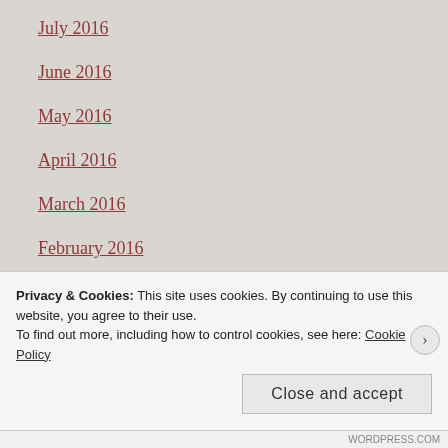July 2016
June 2016
May 2016
April 2016
March 2016
February 2016
January 2016
December 2015
November 2015
October 2015
Privacy & Cookies: This site uses cookies. By continuing to use this website, you agree to their use.
To find out more, including how to control cookies, see here: Cookie Policy
Close and accept